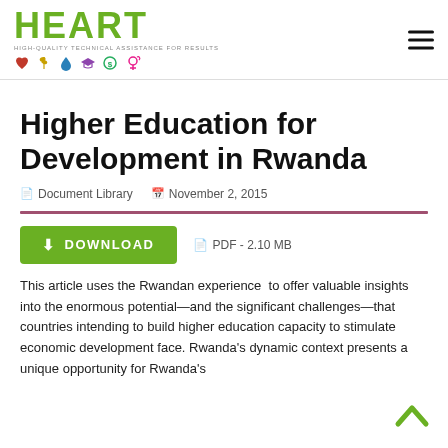[Figure (logo): HEART logo with tagline 'HIGH-QUALITY TECHNICAL ASSISTANCE FOR RESULTS' and thematic icons below]
Higher Education for Development in Rwanda
Document Library   November 2, 2015
DOWNLOAD   PDF - 2.10 MB
This article uses the Rwandan experience  to offer valuable insights into the enormous potential—and the significant challenges—that countries intending to build higher education capacity to stimulate economic development face. Rwanda's dynamic context presents a unique opportunity for Rwanda's